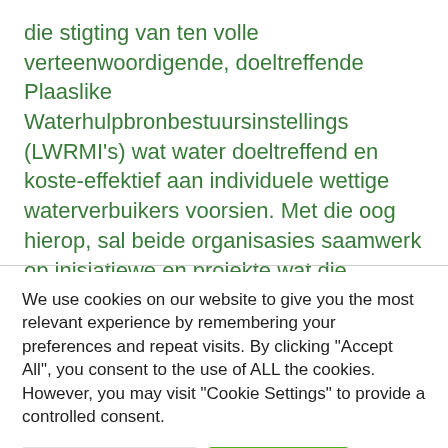die stigting van ten volle verteenwoordigende, doeltreffende Plaaslike Waterhulpbronbestuursinstellings (LWRMI's) wat water doeltreffend en koste-effektief aan individuele wettige waterverbuikers voorsien. Met die oog hierop, sal beide organisasies saamwerk op inisiatiewe en projekte wat die ontwikkeling van ondersteuningsmeganismes vir LWRMI's bevorder en fasiliteer ten einde die kapasiteit van
We use cookies on our website to give you the most relevant experience by remembering your preferences and repeat visits. By clicking "Accept All", you consent to the use of ALL the cookies. However, you may visit "Cookie Settings" to provide a controlled consent.